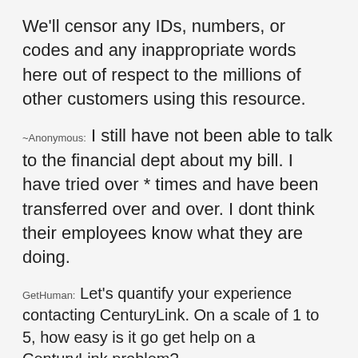We'll censor any IDs, numbers, or codes and any inappropriate words here out of respect to the millions of other customers using this resource.
~Anonymous: I still have not been able to talk to the financial dept about my bill. I have tried over * times and have been transferred over and over. I dont think their employees know what they are doing.
GetHuman: Let's quantify your experience contacting CenturyLink. On a scale of 1 to 5, how easy is it go get help on a CenturyLink problem?
~Anonymous: I'd give them a five out of five for ease of finding your way to help.
GetHuman: What about quality of communication. How would you rate that on a 1 to 5 scale?
~Anonymous: I'd give them a four out of five on communication.